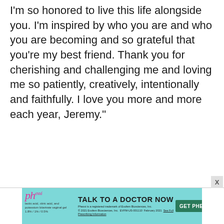I'm so honored to live this life alongside you. I'm inspired by who you are and who you are becoming and so grateful that you're my best friend. Thank you for cherishing and challenging me and loving me so patiently, creatively, intentionally and faithfully. I love you more and more each year, Jeremy."
[Figure (other): Advertisement banner for Phexxi contraceptive. Shows the Phexxi logo in pink italic text, tagline 'TALK TO A DOCTOR NOW', a green 'GET PHEXXI' button, and fine print with trademark and prescribing information details.]